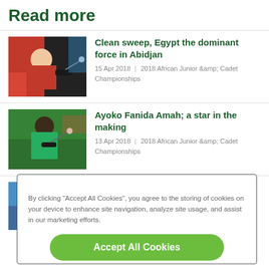Read more
Clean sweep, Egypt the dominant force in Abidjan
15 Apr 2018 | 2018 African Junior &amp; Cadet Championships
[Figure (photo): Table tennis player in red outfit swinging paddle]
Ayoko Fanida Amah; a star in the making
13 Apr 2018 | 2018 African Junior &amp; Cadet Championships
[Figure (photo): Table tennis player in green outfit playing shot]
Egypt once again, presence felt
[Figure (photo): Partially visible table tennis player]
By clicking "Accept All Cookies", you agree to the storing of cookies on your device to enhance site navigation, analyze site usage, and assist in our marketing efforts.